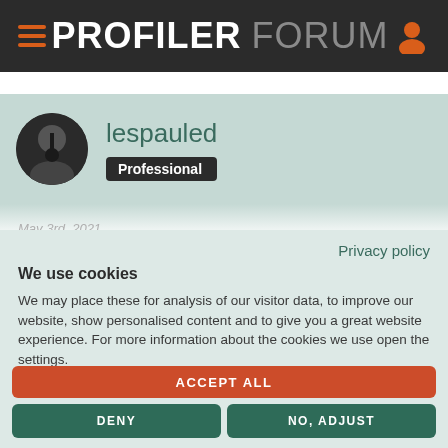PROFILER FORUM
lespauled
Professional
May 3rd, 2021
Privacy policy
We use cookies
We may place these for analysis of our visitor data, to improve our website, show personalised content and to give you a great website experience. For more information about the cookies we use open the settings.
ACCEPT ALL
DENY
NO, ADJUST